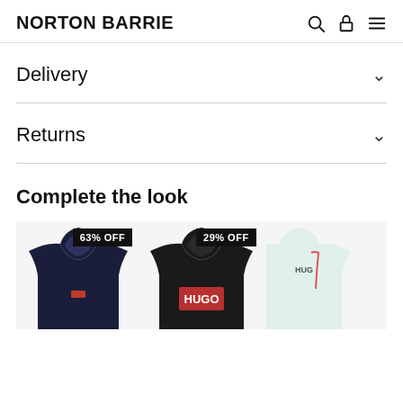NORTON BARRIE
Delivery
Returns
Complete the look
[Figure (photo): Navy blue hoodie with small red logo badge, showing 63% OFF badge]
[Figure (photo): Black HUGO hoodie with large red HUGO box logo, showing 29% OFF badge]
[Figure (photo): Mint/light green HUGO hoodie partially visible at right edge]